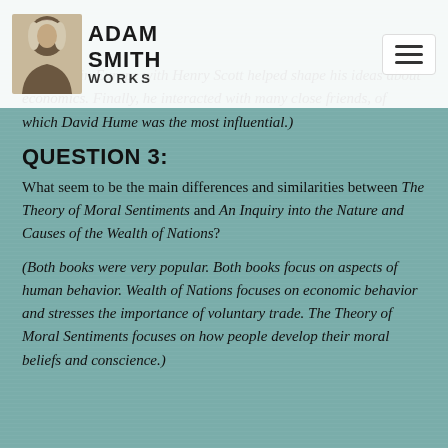ADAM SMITH WORKS
traveling in Europe with Henry Scott helped shape his ideas about economics. Finally, he interacted with many close friends, of which David Hume was the most influential.)
QUESTION 3:
What seem to be the main differences and similarities between The Theory of Moral Sentiments and An Inquiry into the Nature and Causes of the Wealth of Nations?
(Both books were very popular. Both books focus on aspects of human behavior. Wealth of Nations focuses on economic behavior and stresses the importance of voluntary trade. The Theory of Moral Sentiments focuses on how people develop their moral beliefs and conscience.)